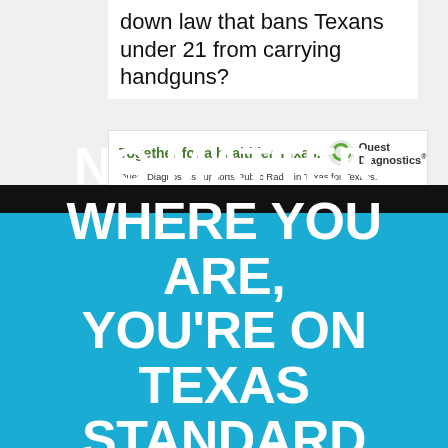down law that bans Texans under 21 from carrying handguns?
[Figure (logo): Quest Diagnostics advertisement with green text 'Together for a healthier Texas.' and Quest Diagnostics circular logo]
Quest Diagnostics supports Public Radio in Texas for Texans.
NO MATTER WHERE YOU ARE, YOU'RE ON TEXAS STANDARD TIME